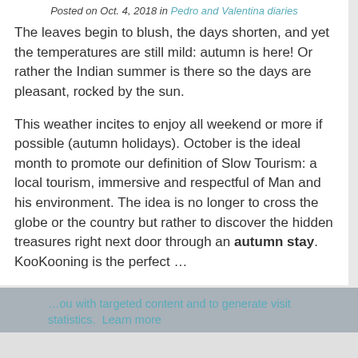Posted on Oct. 4, 2018 in Pedro and Valentina diaries
The leaves begin to blush, the days shorten, and yet the temperatures are still mild: autumn is here! Or rather the Indian summer is there so the days are pleasant, rocked by the sun.
This weather incites to enjoy all weekend or more if possible (autumn holidays). October is the ideal month to promote our definition of Slow Tourism: a local tourism, immersive and respectful of Man and his environment. The idea is no longer to cross the globe or the country but rather to discover the hidden treasures right next door through an autumn stay. KooKooning is the perfect …
...you with targeted content and to generate visit statistics. Learn more
Read more
OK